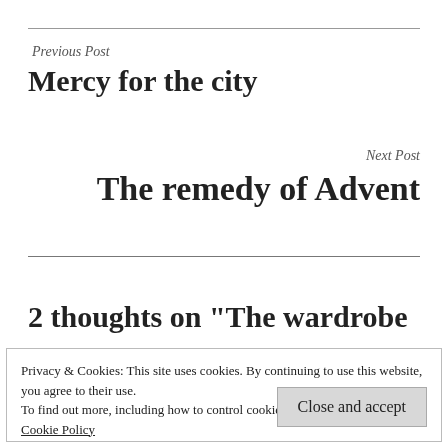Previous Post
Mercy for the city
Next Post
The remedy of Advent
2 thoughts on “The wardrobe
Privacy & Cookies: This site uses cookies. By continuing to use this website, you agree to their use.
To find out more, including how to control cookies, see here:
Cookie Policy
Close and accept